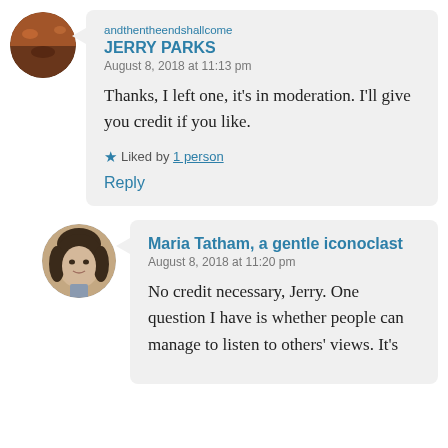[Figure (photo): Circular avatar image for user andthentheendshallcome / Jerry Parks, appears to show a crowd/event scene]
andthentheendshallcome
JERRY PARKS
August 8, 2018 at 11:13 pm
Thanks, I left one, it’s in moderation. I’ll give you credit if you like.
★ Liked by 1 person
Reply
[Figure (photo): Circular avatar image for Maria Tatham, shows a woman with dark hair]
Maria Tatham, a gentle iconoclast
August 8, 2018 at 11:20 pm
No credit necessary, Jerry. One question I have is whether people can manage to listen to others’ views. It’s